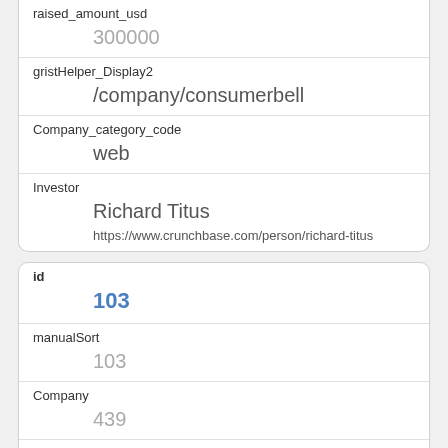raised_amount_usd
300000
gristHelper_Display2
/company/consumerbell
Company_category_code
web
Investor
Richard Titus
https://www.crunchbase.com/person/richard-titus
id
103
manualSort
103
Company
439
investor_permalink
/company/chase-banking-corporation
investor_name
Chase Banking Corporation